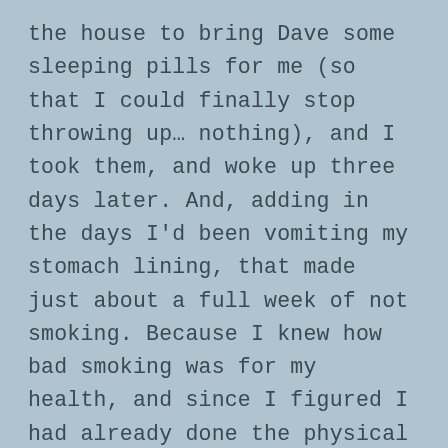the house to bring Dave some sleeping pills for me (so that I could finally stop throwing up… nothing), and I took them, and woke up three days later. And, adding in the days I'd been vomiting my stomach lining, that made just about a full week of not smoking. Because I knew how bad smoking was for my health, and since I figured I had already done the physical withdrawal, I threw away the half empty pack that